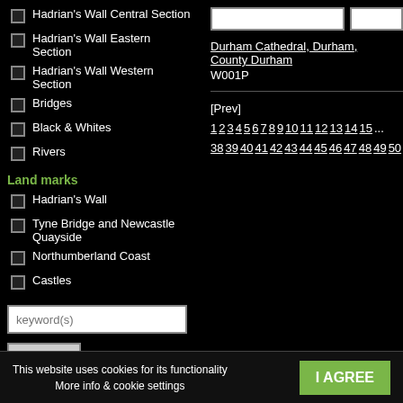Hadrian's Wall Central Section
Hadrian's Wall Eastern Section
Hadrian's Wall Western Section
Bridges
Black & Whites
Rivers
Land marks
Hadrian's Wall
Tyne Bridge and Newcastle Quayside
Northumberland Coast
Castles
keyword(s)
search
Durham Cathedral, Durham, County Durham
W001P
[Prev] 1 2 3 4 5 6 7 8 9 10 11 12 13 14 15 ... 38 39 40 41 42 43 44 45 46 47 48 49 50 5...
This website uses cookies for its functionality
More info & cookie settings